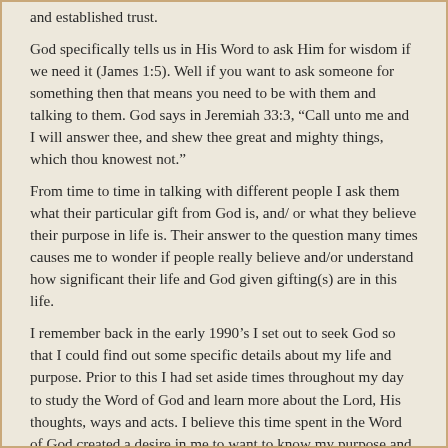and established trust.
God specifically tells us in His Word to ask Him for wisdom if we need it (James 1:5). Well if you want to ask someone for something then that means you need to be with them and talking to them. God says in Jeremiah 33:3, “Call unto me and I will answer thee, and shew thee great and mighty things, which thou knowest not.”
From time to time in talking with different people I ask them what their particular gift from God is, and/ or what they believe their purpose in life is. Their answer to the question many times causes me to wonder if people really believe and/or understand how significant their life and God given gifting(s) are in this life.
I remember back in the early 1990’s I set out to seek God so that I could find out some specific details about my life and purpose. Prior to this I had set aside times throughout my day to study the Word of God and learn more about the Lord, His thoughts, ways and acts. I believe this time spent in the Word of God created a desire in me to want to know my purpose and calling in life.